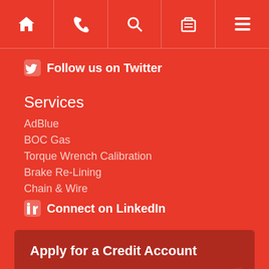Navigation icons: Home, Phone, Search, Basket, Menu
Follow us on Twitter
Services
AdBlue
BOC Gas
Torque Wrench Calibration
Brake Re-Lining
Chain & Wire
Connect on LinkedIn
Apply for a Credit Account
Fill out our simple online application form to apply for a credit account with us.